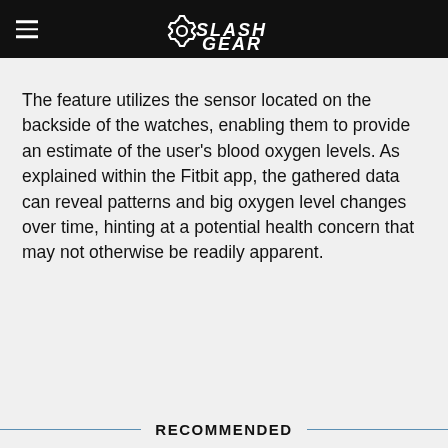SlashGear
The feature utilizes the sensor located on the backside of the watches, enabling them to provide an estimate of the user's blood oxygen levels. As explained within the Fitbit app, the gathered data can reveal patterns and big oxygen level changes over time, hinting at a potential health concern that may not otherwise be readily apparent.
RECOMMENDED